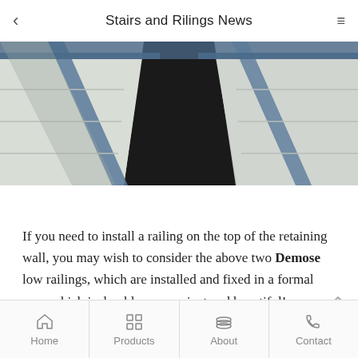Stairs and Rilings News
[Figure (photo): Aerial/top-down view of concrete stairs with metal/blue steel railings, viewed from above showing geometric stair shapes with light and shadow.]
If you need to install a railing on the top of the retaining wall, you may wish to consider the above two Demose low railings, which are installed and fixed in a formal way, which is durable, convenient and beautiful!